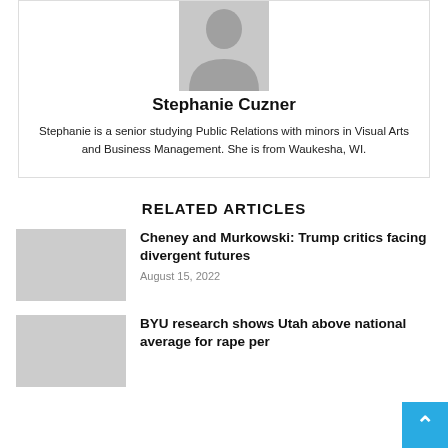[Figure (photo): Grayscale placeholder avatar silhouette of a person]
Stephanie Cuzner
Stephanie is a senior studying Public Relations with minors in Visual Arts and Business Management. She is from Waukesha, WI.
RELATED ARTICLES
Cheney and Murkowski: Trump critics facing divergent futures
August 15, 2022
BYU research shows Utah above national average for rape per